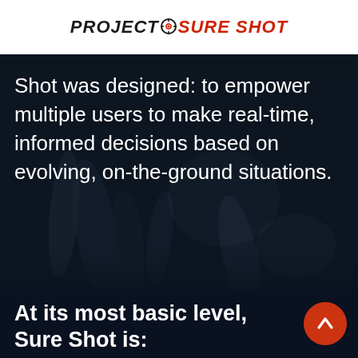PROJECT SURE SHOT
Shot was designed: to empower multiple users to make real-time, informed decisions based on evolving, on-the-ground situations.
[Figure (photo): Dark background with blurred foliage/trees texture in dark navy tones]
At its most basic level, Sure Shot is: